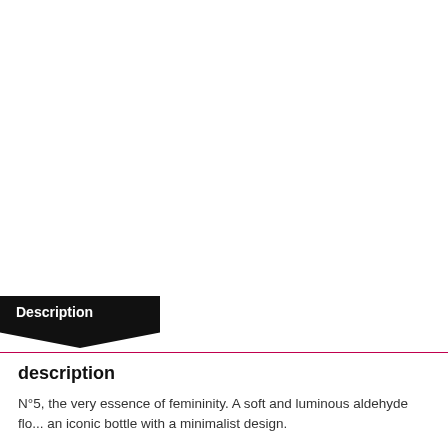Description
description
N°5, the very essence of femininity. A soft and luminous aldehyde flo... an iconic bottle with a minimalist design.
composition